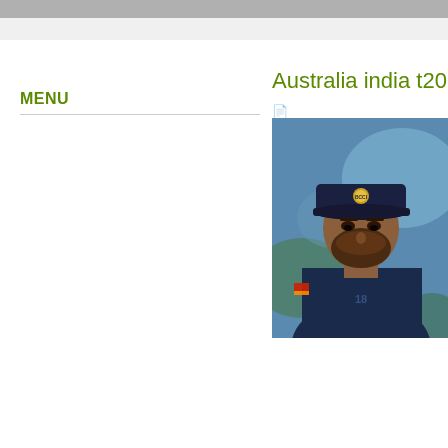MENU
Australia india t20 s
[Figure (photo): Photo of an Indian cricket player wearing a navy blue cap with BCCI logo and dark jersey, looking down, with blue/green bokeh background]